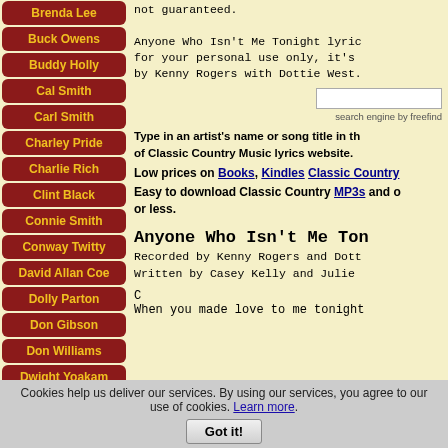Brenda Lee
Buck Owens
Buddy Holly
Cal Smith
Carl Smith
Charley Pride
Charlie Rich
Clint Black
Connie Smith
Conway Twitty
David Allan Coe
Dolly Parton
Don Gibson
Don Williams
Dwight Yoakam
not guaranteed.

Anyone Who Isn't Me Tonight lyric for your personal use only, it's by Kenny Rogers with Dottie West.
search engine by freefind
Type in an artist's name or song title in the of Classic Country Music lyrics website.
Low prices on Books, Kindles Classic Country
Easy to download Classic Country MP3s and or less.
Anyone Who Isn't Me Tonight
Recorded by Kenny Rogers and Dott
Written by Casey Kelly and Julie
C
When you made love to me tonight
Cookies help us deliver our services. By using our services, you agree to our use of cookies. Learn more. Got it!